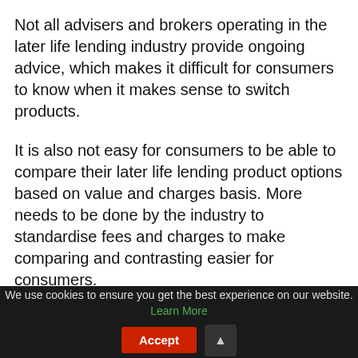Not all advisers and brokers operating in the later life lending industry provide ongoing advice, which makes it difficult for consumers to know when it makes sense to switch products.
It is also not easy for consumers to be able to compare their later life lending product options based on value and charges basis. More needs to be done by the industry to standardise fees and charges to make comparing and contrasting easier for consumers.
Lenders have an important role to play too to help ensure consumers are holding a product that best
We use cookies to ensure you get the best experience on our website. Learn More  Accept